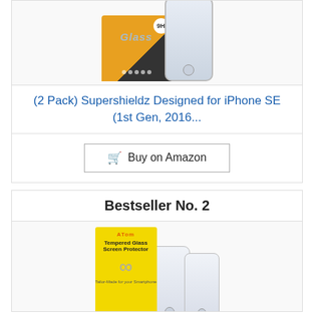[Figure (photo): Product image showing Supershieldz tempered glass screen protector packaging (orange/black) and an iPhone SE with screen protector applied]
(2 Pack) Supershieldz Designed for iPhone SE (1st Gen, 2016...
Buy on Amazon
Bestseller No. 2
[Figure (photo): Product image showing ATen tempered glass screen protector packaging (yellow) and two transparent screen protectors for iPhone]